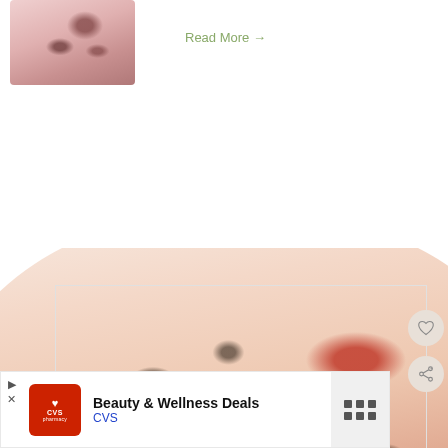[Figure (photo): Small thumbnail photo of a drink with berries (blueberries) in a glass, pinkish-red tones, top-left corner]
Read More →
[Figure (photo): Large circular cropped photo of drinks/glasses with strawberries and blueberries, shown partially, light pink background]
[Figure (other): CVS Beauty & Wellness Deals advertisement banner with CVS pharmacy logo, navigation arrow icon, and menu icon on the right]